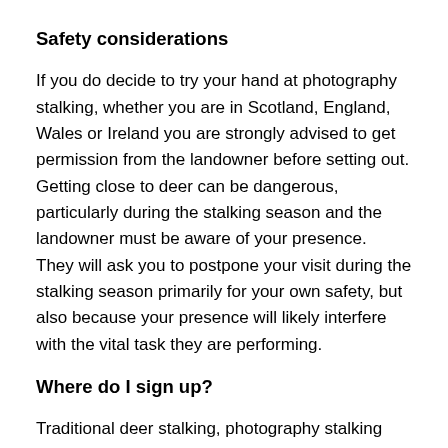Safety considerations
If you do decide to try your hand at photography stalking, whether you are in Scotland, England, Wales or Ireland you are strongly advised to get permission from the landowner before setting out. Getting close to deer can be dangerous, particularly during the stalking season and the landowner must be aware of your presence.  They will ask you to postpone your visit during the stalking season primarily for your own safety, but also because your presence will likely interfere with the vital task they are performing.
Where do I sign up?
Traditional deer stalking, photography stalking and nature tours are available on South Chesthill Estate. You can